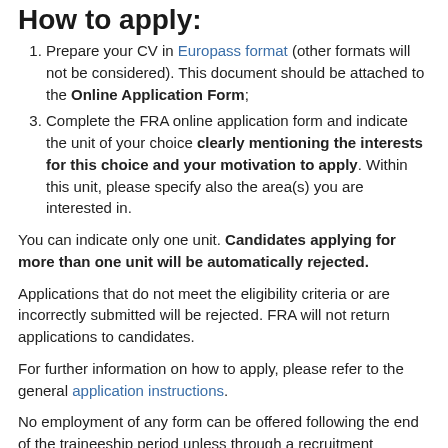How to apply:
Prepare your CV in Europass format (other formats will not be considered). This document should be attached to the Online Application Form;
Complete the FRA online application form and indicate the unit of your choice clearly mentioning the interests for this choice and your motivation to apply. Within this unit, please specify also the area(s) you are interested in.
You can indicate only one unit. Candidates applying for more than one unit will be automatically rejected.
Applications that do not meet the eligibility criteria or are incorrectly submitted will be rejected. FRA will not return applications to candidates.
For further information on how to apply, please refer to the general application instructions.
No employment of any form can be offered following the end of the traineeship period unless through a recruitment